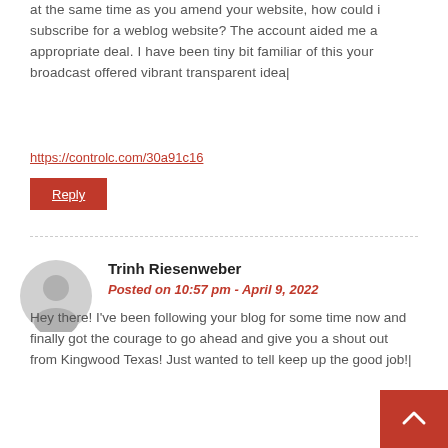at the same time as you amend your website, how could i subscribe for a weblog website? The account aided me a appropriate deal. I have been tiny bit familiar of this your broadcast offered vibrant transparent idea|
https://controlc.com/30a91c16
Reply
Trinh Riesenweber
Posted on 10:57 pm - April 9, 2022
Hey there! I've been following your blog for some time now and finally got the courage to go ahead and give you a shout out from Kingwood Texas! Just wanted to tell keep up the good job!|